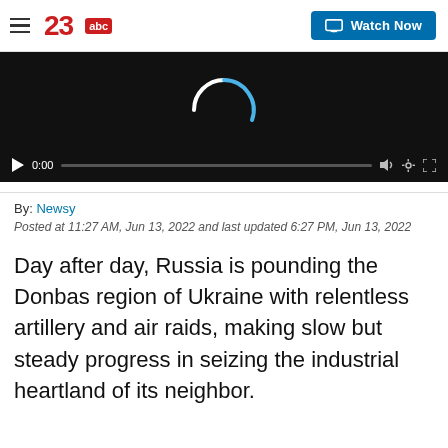[Figure (screenshot): 23abc news website header with hamburger menu, 23abc red logo, and Watch Now blue button]
[Figure (screenshot): Video player showing dark frame with loading spinner (white and blue arc), play button, 0:00 timestamp, and progress bar at bottom]
By: Newsy
Posted at 11:27 AM, Jun 13, 2022 and last updated 6:27 PM, Jun 13, 2022
Day after day, Russia is pounding the Donbas region of Ukraine with relentless artillery and air raids, making slow but steady progress in seizing the industrial heartland of its neighbor.